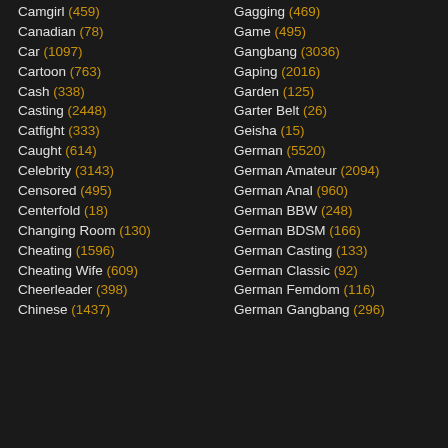Camgirl (459)
Canadian (78)
Car (1097)
Cartoon (763)
Cash (338)
Casting (2448)
Catfight (333)
Caught (614)
Celebrity (3143)
Censored (495)
Centerfold (18)
Changing Room (130)
Cheating (1596)
Cheating Wife (609)
Cheerleader (398)
Chinese (1437)
Gagging (469)
Game (495)
Gangbang (3036)
Gaping (2016)
Garden (125)
Garter Belt (26)
Geisha (15)
German (5520)
German Amateur (2094)
German Anal (960)
German BBW (248)
German BDSM (166)
German Casting (133)
German Classic (92)
German Femdom (116)
German Gangbang (296)